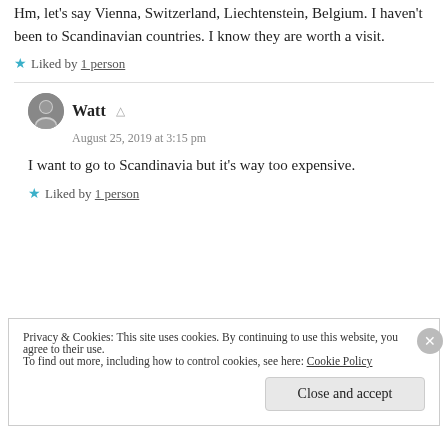Hm, let's say Vienna, Switzerland, Liechtenstein, Belgium. I haven't been to Scandinavian countries. I know they are worth a visit.
★ Liked by 1 person
Watt
August 25, 2019 at 3:15 pm
I want to go to Scandinavia but it's way too expensive.
★ Liked by 1 person
Privacy & Cookies: This site uses cookies. By continuing to use this website, you agree to their use. To find out more, including how to control cookies, see here: Cookie Policy